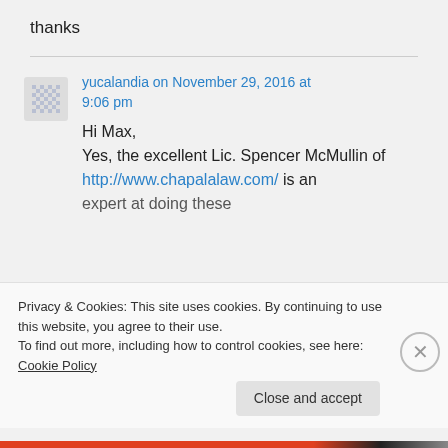thanks
yucalandia on November 29, 2016 at 9:06 pm
Hi Max,
Yes, the excellent Lic. Spencer McMullin of http://www.chapalalaw.com/ is an expert at doing these
Privacy & Cookies: This site uses cookies. By continuing to use this website, you agree to their use.
To find out more, including how to control cookies, see here: Cookie Policy
Close and accept